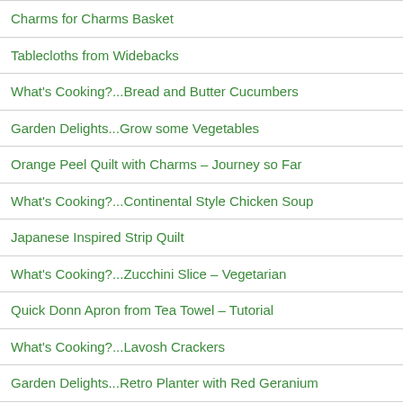Charms for Charms Basket
Tablecloths from Widebacks
What's Cooking?...Bread and Butter Cucumbers
Garden Delights...Grow some Vegetables
Orange Peel Quilt with Charms – Journey so Far
What's Cooking?...Continental Style Chicken Soup
Japanese Inspired Strip Quilt
What's Cooking?...Zucchini Slice – Vegetarian
Quick Donn Apron from Tea Towel – Tutorial
What's Cooking?...Lavosh Crackers
Garden Delights...Retro Planter with Red Geranium
Adorable Nine Patches
What's Cooking?...Apricot b...